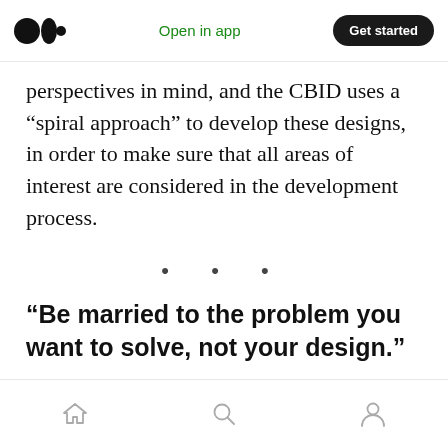Open in app  Get started
perspectives in mind, and the CBID uses a “spiral approach” to develop these designs, in order to make sure that all areas of interest are considered in the development process.
·  ·  ·
“Be married to the problem you want to solve, not your design.”
·  ·  ·
Home  Search  Profile